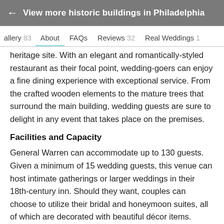← View more historic buildings in Philadelphia
Gallery 83  About  FAQs  Reviews 32  Real Weddings 1
heritage site. With an elegant and romantically-styled restaurant as their focal point, wedding-goers can enjoy a fine dining experience with exceptional service. From the crafted wooden elements to the mature trees that surround the main building, wedding guests are sure to delight in any event that takes place on the premises.
Facilities and Capacity
General Warren can accommodate up to 130 guests. Given a minimum of 15 wedding guests, this venue can host intimate gatherings or larger weddings in their 18th-century inn. Should they want, couples can choose to utilize their bridal and honeymoon suites, all of which are decorated with beautiful décor items. Adorned with breathtaking architecture, grand windows that stream in natural lighting